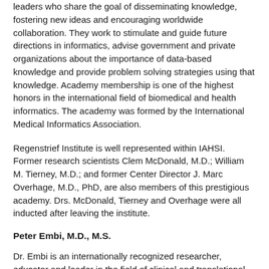leaders who share the goal of disseminating knowledge, fostering new ideas and encouraging worldwide collaboration. They work to stimulate and guide future directions in informatics, advise government and private organizations about the importance of data-based knowledge and provide problem solving strategies using that knowledge. Academy membership is one of the highest honors in the international field of biomedical and health informatics. The academy was formed by the International Medical Informatics Association.
Regenstrief Institute is well represented within IAHSI. Former research scientists Clem McDonald, M.D.; William M. Tierney, M.D.; and former Center Director J. Marc Overhage, M.D., PhD, are also members of this prestigious academy. Drs. McDonald, Tierney and Overhage were all inducted after leaving the institute.
Peter Embi, M.D., M.S.
Dr. Embi is an internationally recognized researcher, educator and leader in the field of clinical and translational research informatics. His areas of interest include biomedical informatics, health